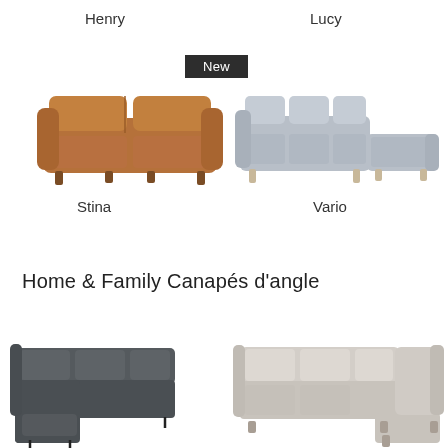Henry
Lucy
[Figure (photo): Brown leather two-seat sofa with rounded arms, labeled New]
[Figure (photo): Light grey sectional sofa with chaise lounge and wooden legs]
Stina
Vario
Home & Family Canapés d'angle
[Figure (photo): Dark charcoal grey L-shaped corner sofa with metal legs]
[Figure (photo): Beige/light grey L-shaped corner sofa]